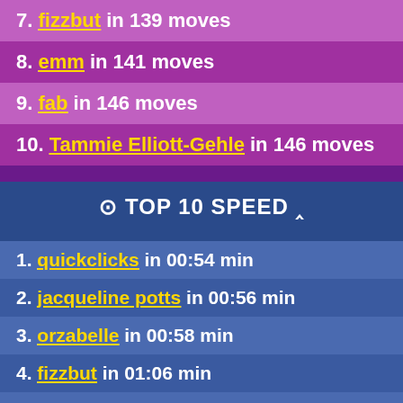7. fizzbut in 139 moves
8. emm in 141 moves
9. fab in 146 moves
10. Tammie Elliott-Gehle in 146 moves
⊕ TOP 10 SPEED ⌃
1. quickclicks in 00:54 min
2. jacqueline potts in 00:56 min
3. orzabelle in 00:58 min
4. fizzbut in 01:06 min
5. JBAMA1998 in 01:09 min
6. twinkle391 in 01:10 min
7. Tom in 01:11 min
8. luigi de nichilo in 01:12 min
9. Hamlette in 01:17 min